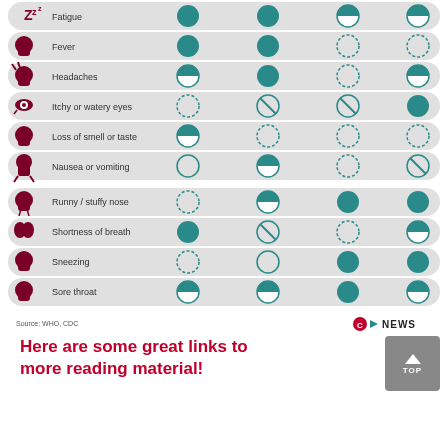[Figure (infographic): Symptom comparison chart for Fatigue, Fever, Headaches, Itchy or watery eyes, Loss of smell or taste, Nausea or vomiting, Runny/stuffy nose, Shortness of breath, Sneezing, Sore throat with filled/partially filled/dashed circles indicating severity or frequency across four conditions. Source: WHO, CDC. CTV News logo.]
Source: WHO, CDC
Here are some great links to more reading material!